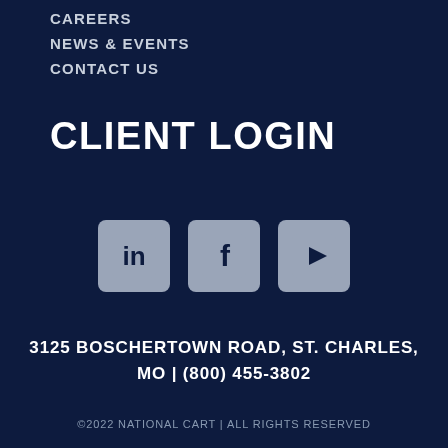CAREERS
NEWS & EVENTS
CONTACT US
CLIENT LOGIN
[Figure (illustration): Three social media icons: LinkedIn (in), Facebook (f), and YouTube (play button triangle), rendered as rounded-square grey icon buttons on dark navy background.]
3125 BOSCHERTOWN ROAD, ST. CHARLES, MO | (800) 455-3802
©2022 NATIONAL CART | ALL RIGHTS RESERVED